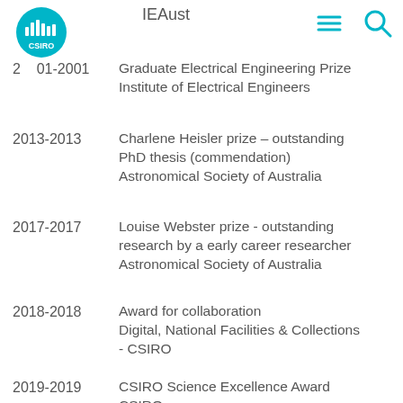[Figure (logo): CSIRO circular logo in teal with waveform/bar icon and CSIRO text]
IEAust
[Figure (other): Hamburger menu icon (three horizontal lines) in teal]
[Figure (other): Search (magnifying glass) icon in teal]
2001-2001  Graduate Electrical Engineering Prize Institute of Electrical Engineers
2013-2013  Charlene Heisler prize – outstanding PhD thesis (commendation) Astronomical Society of Australia
2017-2017  Louise Webster prize - outstanding research by a early career researcher Astronomical Society of Australia
2018-2018  Award for collaboration Digital, National Facilities & Collections - CSIRO
2019-2019  CSIRO Science Excellence Award CSIRO